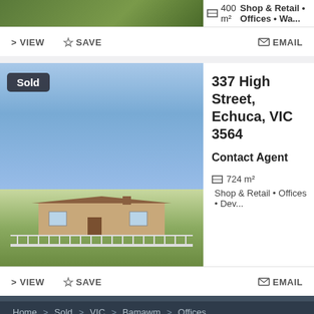[Figure (screenshot): Partial property listing showing green hills image, 400 m² area, Shop & Retail • Offices • Wa...]
400 m²   Shop & Retail • Offices • Wa...
> VIEW   ☆ SAVE   ✉ EMAIL
[Figure (photo): Photo of a heritage-style building at 337 High Street Echuca with white picket fence and garden, with Sold badge overlay]
Sold
337 High Street, Echuca, VIC 3564
Contact Agent
724 m²   Shop & Retail • Offices • Dev...
> VIEW   ☆ SAVE   ✉ EMAIL
Home > Sold > VIC > Bamawm > Offices
Explore Bamawm
Sold Commercial Properties